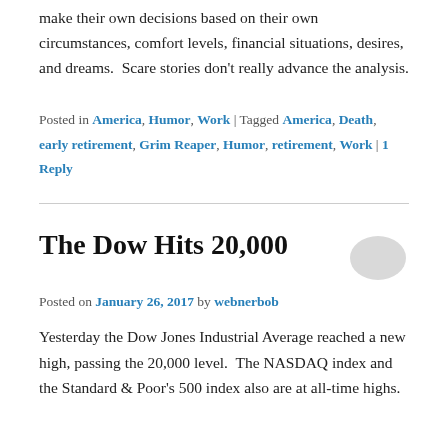Their experience teaches me that everyone just needs to make their own decisions based on their own circumstances, comfort levels, financial situations, desires, and dreams.  Scare stories don't really advance the analysis.
Posted in America, Humor, Work | Tagged America, Death, early retirement, Grim Reaper, Humor, retirement, Work | 1 Reply
The Dow Hits 20,000
Posted on January 26, 2017 by webnerbob
Yesterday the Dow Jones Industrial Average reached a new high, passing the 20,000 level.  The NASDAQ index and the Standard & Poor's 500 index also are at all-time highs.